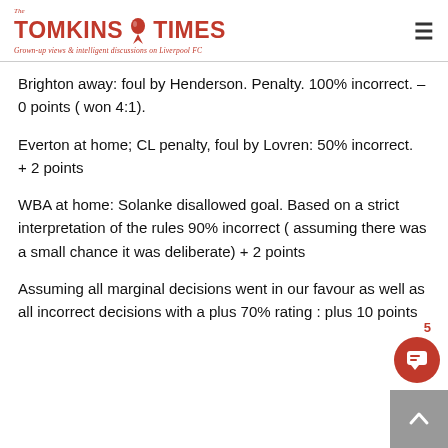The Tomkins Times — Grown-up views & intelligent discussions on Liverpool FC
Brighton away: foul by Henderson. Penalty. 100% incorrect. – 0 points ( won 4:1).
Everton at home; CL penalty, foul by Lovren: 50% incorrect.  + 2 points
WBA at home: Solanke disallowed goal. Based on a strict interpretation of the rules 90% incorrect ( assuming there was a small chance it was deliberate) + 2 points
Assuming all marginal decisions went in our favour as well as all incorrect decisions with a plus 70% rating : plus 10 points